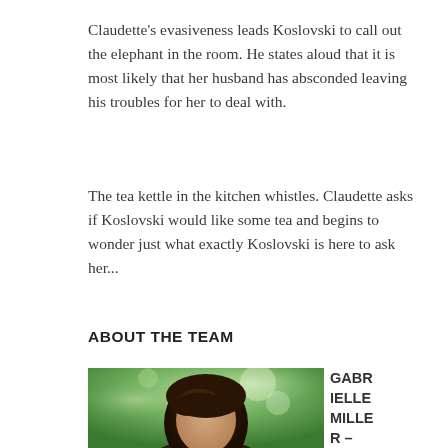Claudette's evasiveness leads Koslovski to call out the elephant in the room. He states aloud that it is most likely that her husband has absconded leaving his troubles for her to deal with.
The tea kettle in the kitchen whistles. Claudette asks if Koslovski would like some tea and begins to wonder just what exactly Koslovski is here to ask her...
ABOUT THE TEAM
[Figure (photo): Portrait photo of a person with dark hair, against a blurred green outdoor background]
GABRIELLE MILLER – Director/Pro